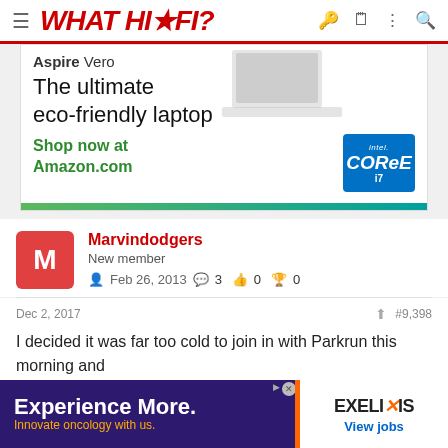WHAT HI·FI?
[Figure (screenshot): Advertisement banner for Acer Aspire Vero laptop: 'The ultimate eco-friendly laptop. Shop now at Amazon.com' with Intel Core i7 badge and green bar at bottom]
Marvindodgers
New member
Feb 26, 2013  3  0  0
Dec 2, 2017  #9,398
I decided it was far too cold to join in with Parkrun this morning and
[Figure (screenshot): Advertisement: 'Experience More. Innovate oncology with us.' EXELIXIS View jobs]